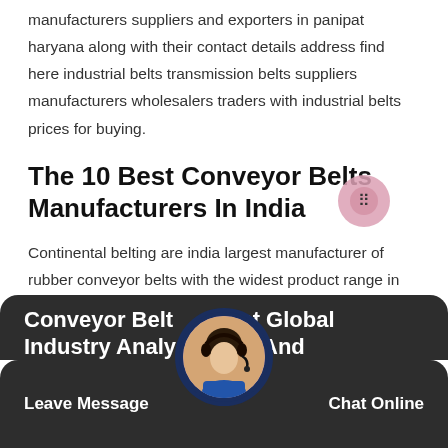Business listings of industrial belts transmission belts manufacturers suppliers and exporters in panipat haryana along with their contact details address find here industrial belts transmission belts suppliers manufacturers wholesalers traders with industrial belts prices for buying.
The 10 Best Conveyor Belts Manufacturers In India
Continental belting are india largest manufacturer of rubber conveyor belts with the widest product range in the industry which includes m24 belts upto 2400mm width chevron belts 10 jyoti group karnal.
Conveyor Belt Market Global Industry Analysis Size And